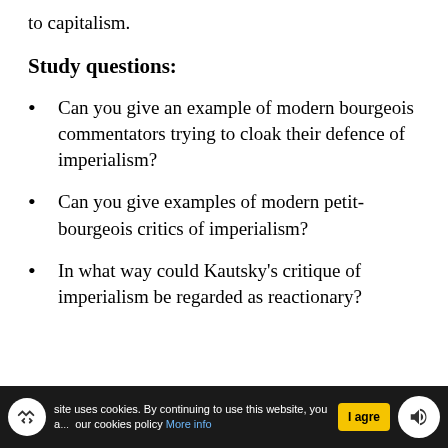to capitalism.
Study questions:
Can you give an example of modern bourgeois commentators trying to cloak their defence of imperialism?
Can you give examples of modern petit-bourgeois critics of imperialism?
In what way could Kautsky's critique of imperialism be regarded as reactionary?